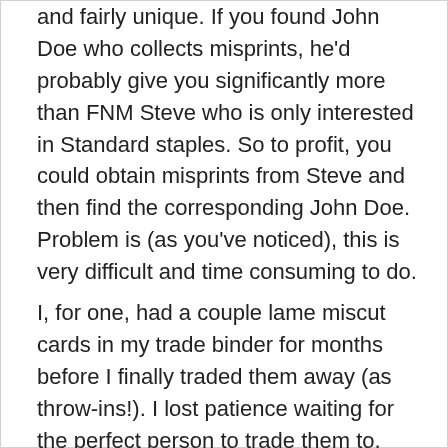and fairly unique. If you found John Doe who collects misprints, he'd probably give you significantly more than FNM Steve who is only interested in Standard staples. So to profit, you could obtain misprints from Steve and then find the corresponding John Doe. Problem is (as you've noticed), this is very difficult and time consuming to do.
I, for one, had a couple lame miscut cards in my trade binder for months before I finally traded them away (as throw-ins!). I lost patience waiting for the perfect person to trade them to,